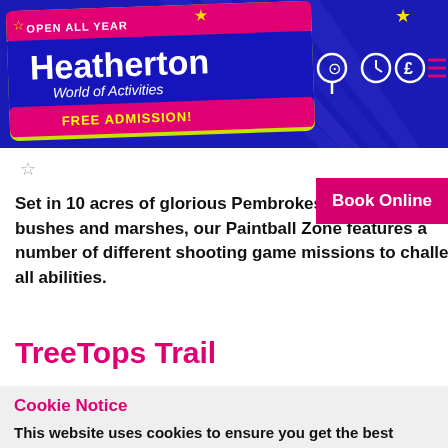[Figure (logo): Heatherton World of Activities logo on a ticket-shaped graphic with 'OPEN ALL YEAR' and 'FREE ADMISSION!' labels, on a blue header bar with sunburst rays. Navigation icons (location, clock, pound, menu) on the right.]
Set in 10 acres of glorious Pembrokeshire wo... bushes and marshes, our Paintball Zone features a number of different shooting game missions to challenge all abilities.
TreeTops Trail
Cookie Notice
This website uses cookies to ensure you get the best experience on our website. Learn more
Accept Cookies